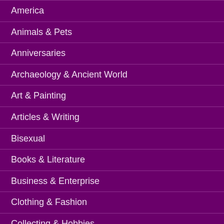America
Animals & Pets
Anniversaries
Archaeology & Ancient World
Art & Painting
Articles & Writing
Bisexual
Books & Literature
Business & Enterprise
Clothing & Fashion
Collecting & Hobbies
Comedy & Humour